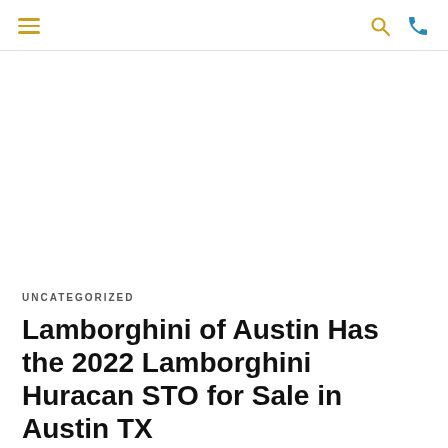≡  🔍  📞
[Figure (photo): Large white/blank image area representing a car photo placeholder]
UNCATEGORIZED
Lamborghini of Austin Has the 2022 Lamborghini Huracan STO for Sale in Austin TX